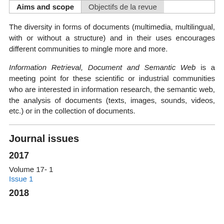Aims and scope | Objectifs de la revue
The diversity in forms of documents (multimedia, multilingual, with or without a structure) and in their uses encourages different communities to mingle more and more.
Information Retrieval, Document and Semantic Web is a meeting point for these scientific or industrial communities who are interested in information research, the semantic web, the analysis of documents (texts, images, sounds, videos, etc.) or in the collection of documents.
Journal issues
2017
Volume 17- 1
Issue 1
2018